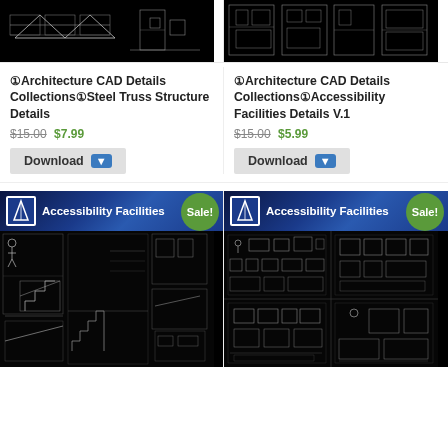[Figure (screenshot): CAD drawing of steel truss structure on black background]
[Figure (screenshot): CAD drawing of accessibility facilities floor plans on black background]
①Architecture CAD Details Collections①Steel Truss Structure Details
$15.00 $7.99
Download
①Architecture CAD Details Collections①Accessibility Facilities Details V.1
$15.00 $5.99
Download
[Figure (screenshot): CAD drawing of accessibility facilities - ramps and stair details on black background, with Sale! badge]
[Figure (screenshot): CAD drawing of accessibility facilities - equipment and facilities details on black background, with Sale! badge]